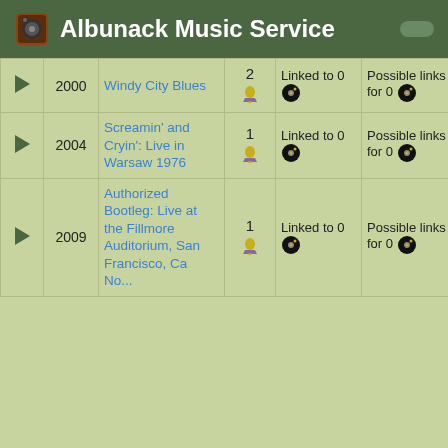Albunack Music Service
|  | Year | Title | # | Linked | Possible links for | Additional |
| --- | --- | --- | --- | --- | --- | --- |
| ▶ | 2000 | Windy City Blues | 2 | Linked to 0 | Possible links for 0 | Additional 1 |
| ▶ | 2004 | Screamin' and Cryin': Live in Warsaw 1976 | 1 | Linked to 0 | Possible links for 0 | Additional 1 |
| ▶ | 2009 | Authorized Bootleg: Live at the Fillmore Auditorium, San Francisco, Ca No... | 1 | Linked to 0 | Possible links for 0 | Additional 0 |